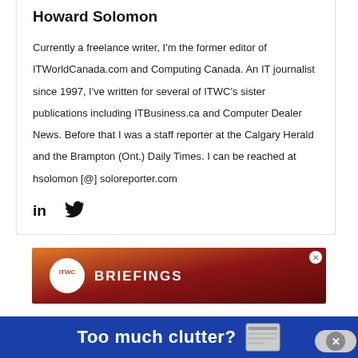Howard Solomon
Currently a freelance writer, I'm the former editor of ITWorldCanada.com and Computing Canada. An IT journalist since 1997, I've written for several of ITWC's sister publications including ITBusiness.ca and Computer Dealer News. Before that I was a staff reporter at the Calgary Herald and the Brampton (Ont.) Daily Times. I can be reached at hsolomon [@] soloreporter.com
[Figure (infographic): LinkedIn and Twitter social media icons]
[Figure (infographic): ITWC Briefings advertisement banner with orange-to-red gradient background, ITWC circular logo badge, and BRIEFINGS text]
[Figure (infographic): Blue banner advertisement with text 'Too much clutter?' and a newsletter icon, with a close button on the right]